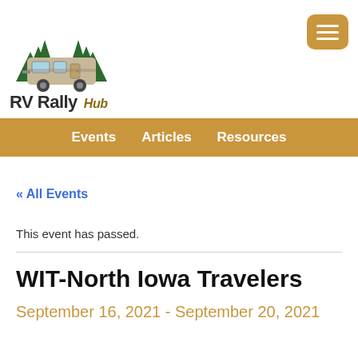[Figure (logo): RV Rally Hub logo with an illustrated RV camper surrounded by pine trees, above the text 'RV Rally Hub']
Events   Articles   Resources
« All Events
This event has passed.
WIT-North Iowa Travelers
September 16, 2021 - September 20, 2021